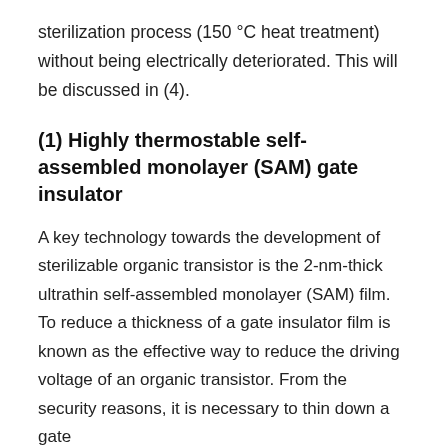sterilization process (150 °C heat treatment) without being electrically deteriorated. This will be discussed in (4).
(1) Highly thermostable self-assembled monolayer (SAM) gate insulator
A key technology towards the development of sterilizable organic transistor is the 2-nm-thick ultrathin self-assembled monolayer (SAM) film. To reduce a thickness of a gate insulator film is known as the effective way to reduce the driving voltage of an organic transistor. From the security reasons, it is necessary to thin down a gate